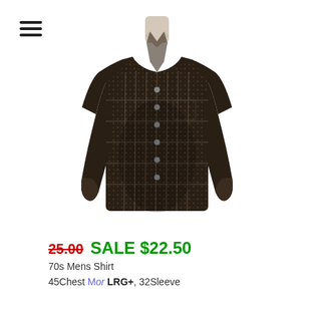[Figure (photo): A vintage 70s men's dark brown/black patterned long-sleeve button-up shirt displayed on a mannequin, photographed on a white background.]
25.00  SALE $22.50
70s Mens Shirt
45Chest Mor LRG+, 32Sleeve